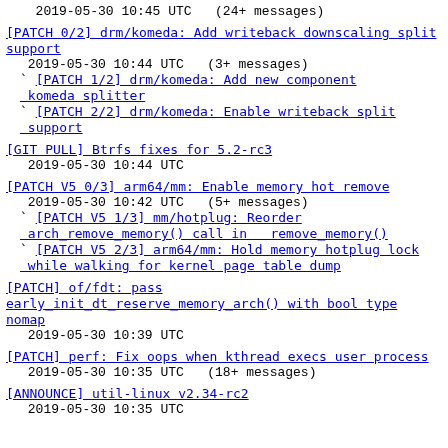2019-05-30 10:45 UTC  (24+ messages)
[PATCH 0/2] drm/komeda: Add writeback downscaling split support
2019-05-30 10:44 UTC  (3+ messages)
` [PATCH 1/2] drm/komeda: Add new component komeda splitter
` [PATCH 2/2] drm/komeda: Enable writeback split support
[GIT PULL] Btrfs fixes for 5.2-rc3
2019-05-30 10:44 UTC
[PATCH V5 0/3] arm64/mm: Enable memory hot remove
2019-05-30 10:42 UTC  (5+ messages)
` [PATCH V5 1/3] mm/hotplug: Reorder arch_remove_memory() call in __remove_memory()
` [PATCH V5 2/3] arm64/mm: Hold memory hotplug lock while walking for kernel page table dump
[PATCH] of/fdt: pass early_init_dt_reserve_memory_arch() with bool type nomap
2019-05-30 10:39 UTC
[PATCH] perf: Fix oops when kthread execs user process
2019-05-30 10:35 UTC  (18+ messages)
[ANNOUNCE] util-linux v2.34-rc2
2019-05-30 10:35 UTC